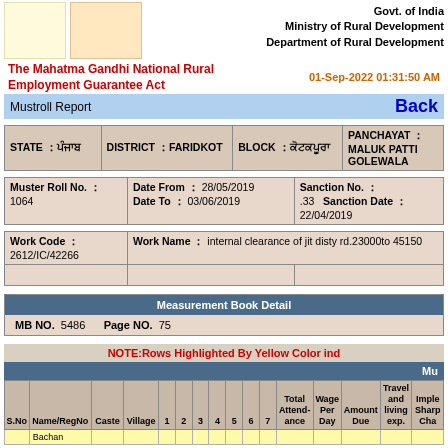Govt. of India
Ministry of Rural Development
Department of Rural Development
The Mahatma Gandhi National Rural Employment Guarantee Act
01-Sep-2022 01:31:50 AM
Mustroll Report
| STATE | DISTRICT | BLOCK | PANCHAYAT |
| --- | --- | --- | --- |
| ਪੰਜਾਬ | FARIDKOT | ਕੋਟਕਪੂਰਾ | MALUK PATTI GOLEWALA |
| Muster Roll No. | Date From / Date To | Sanction No. / Sanction Date |
| --- | --- | --- |
| 1064 | 28/05/2019 - 03/06/2019 | .33  22/04/2019 |
| Work Code | Work Name |
| --- | --- |
| 2612/IC/42266 | internal clearance of jit disty rd.23000to 45150 |
Measurement Book Detail
MB NO.  5486    Page NO.  75
NOTE:Rows Highlighted By Yellow Color ind
Mu
| S.No | Name/RegNo | Caste | Village | 1 | 2 | 3 | 4 | 5 | 6 | 7 | Total Attendance | Wage Per Day | Amount Due | Travel and living exp. | Imple Sharp Cha |
| --- | --- | --- | --- | --- | --- | --- | --- | --- | --- | --- | --- | --- | --- | --- | --- |
|  | Bachan |  |  |  |  |  |  |  |  |  |  |  |  |  |  |